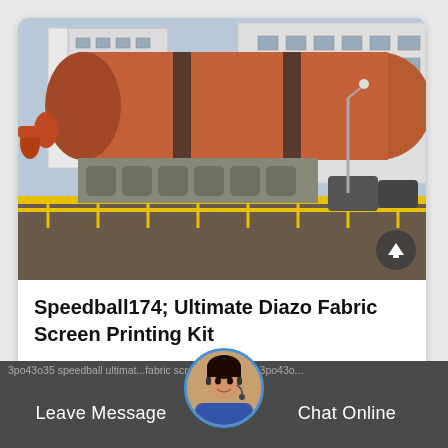[Figure (photo): Large industrial rotary kiln or drum dryer in an outdoor factory setting. The massive cylindrical rust-colored drum is angled, supported by machinery and yellow safety rails. White industrial buildings are visible in the background.]
Speedball174; Ultimate Diazo Fabric Screen Printing Kit
Leave Message   Chat Online